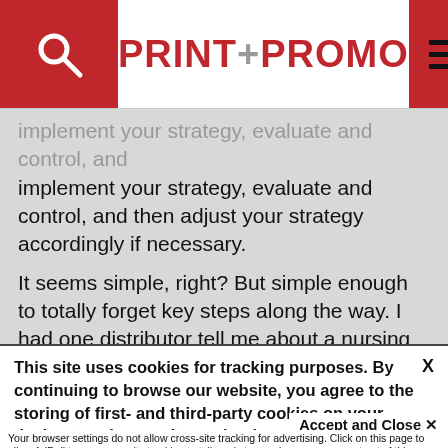PRINT+PROMO
implement your strategy, evaluate and control, and then adjust your strategy accordingly if necessary.
It seems simple, right? But simple enough to totally forget key steps along the way. I had one distributor tell me about a nursing campaign he launched with a color scheme all in pinks and lavenders. He completely forgot to scan the
This site uses cookies for tracking purposes. By continuing to browse our website, you agree to the storing of first- and third-party cookies on your device to enhance site navigation, analyze site usage, and assist in our marketing and
Accept and Close ✕
Your browser settings do not allow cross-site tracking for advertising. Click on this page to allow AdRoll to use cross-site tracking to tailor ads to you. Learn more or opt out of this AdRoll tracking by clicking here. This message only appears once.